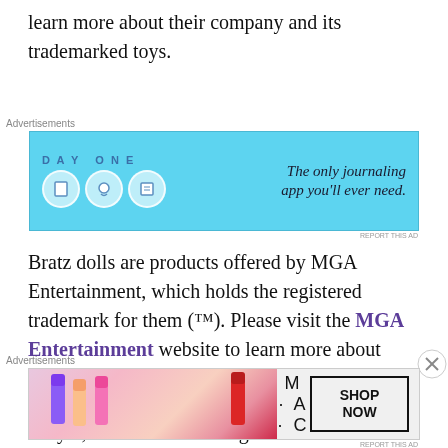learn more about their company and its trademarked toys.
[Figure (other): Advertisement banner for Day One journaling app with blue background, app icons, and tagline 'The only journaling app you'll ever need.']
Bratz dolls are products offered by MGA Entertainment, which holds the registered trademark for them (™). Please visit the MGA Entertainment website to learn more about their company and its trademarked toys.
Breyer dolls and horses are products offered by Breyer, which holds the registered trademark for
[Figure (other): Advertisement banner for MAC cosmetics showing lipsticks and 'SHOP NOW' button]